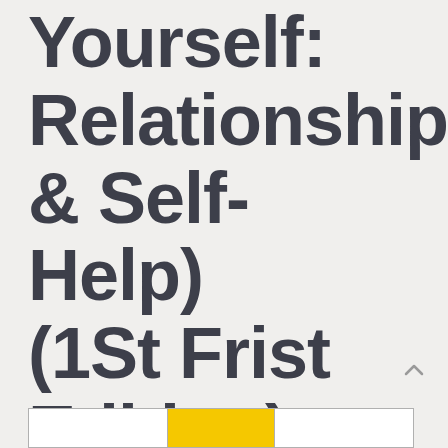Yourself: Relationships & Self-Help) (1St Frist Edition) [Paperback]
[Figure (other): Partial view of a table/product listing strip at the bottom of the page with white and yellow cells]